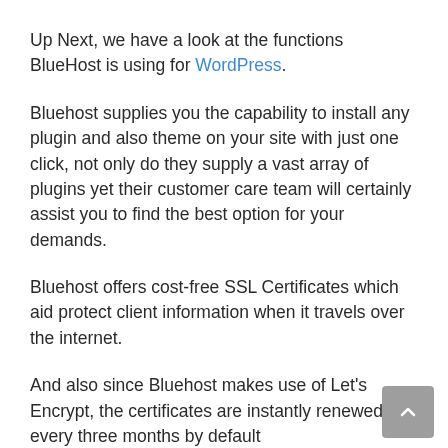Up Next, we have a look at the functions BlueHost is using for WordPress.
Bluehost supplies you the capability to install any plugin and also theme on your site with just one click, not only do they supply a vast array of plugins yet their customer care team will certainly assist you to find the best option for your demands.
Bluehost offers cost-free SSL Certificates which aid protect client information when it travels over the internet.
And also since Bluehost makes use of Let's Encrypt, the certificates are instantly renewed every three months by default